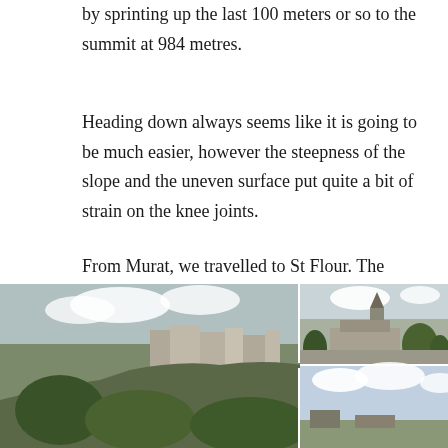by sprinting up the last 100 meters or so to the summit at 984 metres.
Heading down always seems like it is going to be much easier, however the steepness of the slope and the uneven surface put quite a bit of strain on the knee joints.
From Murat, we travelled to St Flour. The satnag took us in through the higher town, thru the hectic traffic and down to lower town. Unfortunately, we were not impressed with the lower town. Subsequently we discovered that most of the interesting bits are up top.
[Figure (photo): Left: large photo of a hilltop town with castle/buildings on rocky outcrop, trees in foreground. Top right: photo of a church with steeple and surrounding buildings. Bottom right: partial photo, sky and some structures visible.]